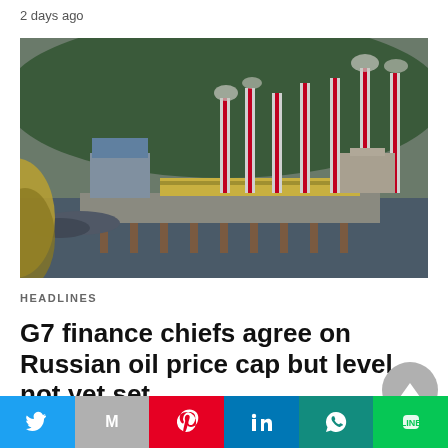2 days ago
[Figure (photo): Industrial port or oil facility with red-and-white striped smokestacks/pipes, boats docked in foreground water, green hillside in background, overcast sky.]
HEADLINES
G7 finance chiefs agree on Russian oil price cap but level not yet set
By David Lawder and Christian Kraemer (Reuters) -Group of Seven finance ministers agreed on Friday...